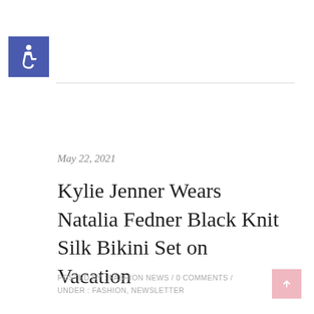[Figure (logo): Blue square with white wheelchair accessibility icon]
May 22, 2021
Kylie Jenner Wears Natalia Fedner Black Knit Silk Bikini Set on Vacation
POSTED BY : FASHION NEWS / 0 COMMENTS / UNDER : FASHION, NEWSLETTER